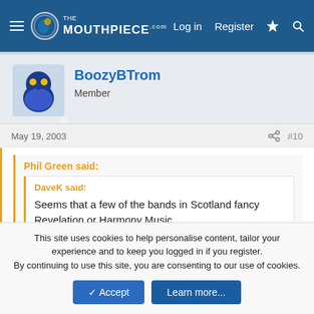The Mouthpiece — Log in   Register
BoozyBTrom
Member
May 19, 2003   #10
Phil Green said:
DaveK said:
Seems that a few of the bands in Scotland fancy Revelation or Harmony Music.
I know of at least one band in England that fancies Harmony Music
This site uses cookies to help personalise content, tailor your experience and to keep you logged in if you register.
By continuing to use this site, you are consenting to our use of cookies.